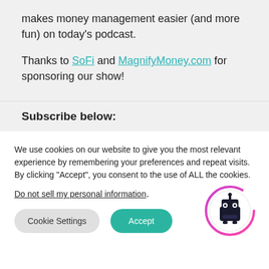makes money management easier (and more fun) on today's podcast.
Thanks to SoFi and MagnifyMoney.com for sponsoring our show!
Subscribe below:
We use cookies on our website to give you the most relevant experience by remembering your preferences and repeat visits. By clicking "Accept", you consent to the use of ALL the cookies.
Do not sell my personal information.
[Figure (logo): Robot mascot logo with purple circular arc around it]